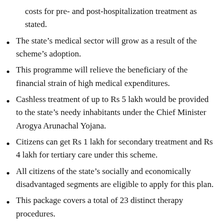costs for pre- and post-hospitalization treatment as stated.
The state's medical sector will grow as a result of the scheme's adoption.
This programme will relieve the beneficiary of the financial strain of high medical expenditures.
Cashless treatment of up to Rs 5 lakh would be provided to the state's needy inhabitants under the Chief Minister Arogya Arunachal Yojana.
Citizens can get Rs 1 lakh for secondary treatment and Rs 4 lakh for tertiary care under this scheme.
All citizens of the state's socially and economically disadvantaged segments are eligible to apply for this plan.
This package covers a total of 23 distinct therapy procedures.